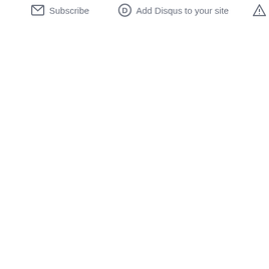Subscribe   Add Disqus to your site   Do Not Sell My Da...